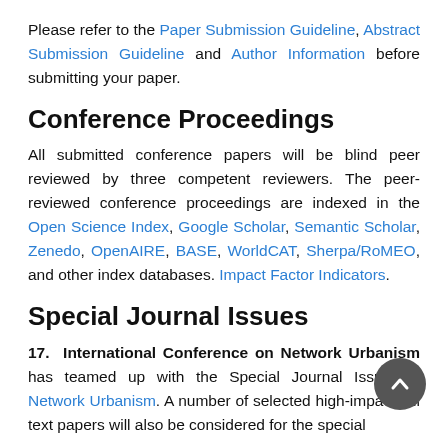Please refer to the Paper Submission Guideline, Abstract Submission Guideline and Author Information before submitting your paper.
Conference Proceedings
All submitted conference papers will be blind peer reviewed by three competent reviewers. The peer-reviewed conference proceedings are indexed in the Open Science Index, Google Scholar, Semantic Scholar, Zenedo, OpenAIRE, BASE, WorldCAT, Sherpa/RoMEO, and other index databases. Impact Factor Indicators.
Special Journal Issues
17. International Conference on Network Urbanism has teamed up with the Special Journal Issue on Network Urbanism. A number of selected high-impact full text papers will also be considered for the special